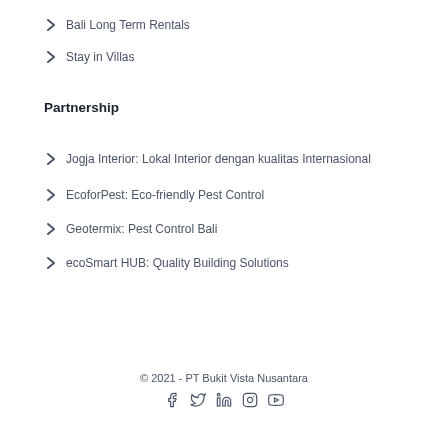Bali Long Term Rentals
Stay in Villas
Partnership
Jogja Interior: Lokal Interior dengan kualitas Internasional
EcoforPest: Eco-friendly Pest Control
Geotermix: Pest Control Bali
ecoSmart HUB: Quality Building Solutions
© 2021 - PT Bukit Vista Nusantara